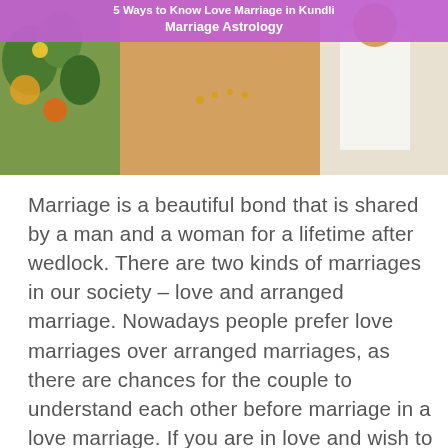[Figure (photo): Banner image showing a purple/violet background with white text reading '5 Ways to Know Love Marriage in Kundli Marriage Astrology' overlaid on a photo of an Indian wedding scene with traditional decorations, jewelry, flowers, and a couple in traditional wedding attire.]
Marriage is a beautiful bond that is shared by a man and a woman for a lifetime after wedlock. There are two kinds of marriages in our society – love and arranged marriage. Nowadays people prefer love marriages over arranged marriages, as there are chances for the couple to understand each other before marriage in a love marriage. If you are in love and wish to know if that will turn into a marriage, then love marriage astrology can help you. The stars, planets, and their positions in a person's birth chart can indicate if you will have a love or arranged marriage. Here are 5 ways in your